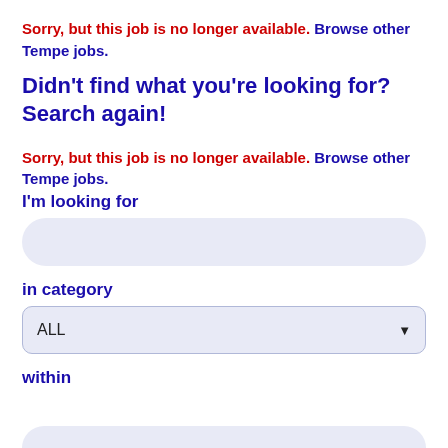Sorry, but this job is no longer available. Browse other Tempe jobs.
Didn't find what you're looking for? Search again!
Sorry, but this job is no longer available. Browse other Tempe jobs.
I'm looking for
[Figure (other): Search input text field with rounded corners and light blue background]
in category
[Figure (other): Dropdown select box showing 'ALL' with a down arrow, light blue background with rounded corners]
within
[Figure (other): Partially visible input box at the bottom of the page with rounded corners and light blue background]